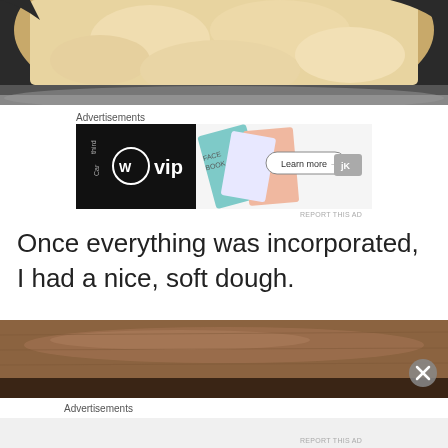[Figure (photo): Close-up photo of pale yellow crumbly dough or flour mixture in a dark pan, cropped view from top]
Advertisements
[Figure (screenshot): WordPress VIP advertisement banner with colorful card graphics and 'Learn more' button]
REPORT THIS AD
Once everything was incorporated, I had a nice, soft dough.
[Figure (photo): Close-up photo of smooth brown dough in a bowl, showing the surface texture]
Advertisements
REPORT THIS AD